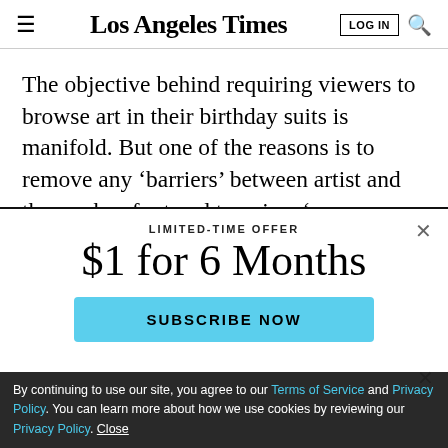Los Angeles Times
The objective behind requiring viewers to browse art in their birthday suits is manifold. But one of the reasons is to remove any ‘barriers’ between artist and the works of art and to gain a ‘new perspective’ on the current
LIMITED-TIME OFFER
$1 for 6 Months
SUBSCRIBE NOW
By continuing to use our site, you agree to our Terms of Service and Privacy Policy. You can learn more about how we use cookies by reviewing our Privacy Policy. Close